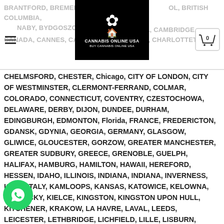BRANTFORD, BREMEN, BRENTWOOD, BRITISH COLUMBIA, BURNABY, BYDGOSZCZ, CALIFORNIA, CALIFORNIA, CAMBRIDGE, CANADA, CANNES, CARCASSONNE, CARDIFF, CHARLOTTETOWN,
[Figure (logo): Cannabis Online USA logo - black background with white cannabis leaf and house icon, text reads CANNABIS ONLINE USA, BUY CANNABIS ONLINE USA]
CHELMSFORD, CHESTER, Chicago, CITY OF LONDON, CITY OF WESTMINSTER, CLERMONT-FERRAND, COLMAR, COLORADO, CONNECTICUT, COVENTRY, CZESTOCHOWA, DELAWARE, DERBY, DIJON, DUNDEE, DURHAM, EDINGBURGH, EDMONTON, Florida, FRANCE, FREDERICTON, GDANSK, GDYNIA, GEORGIA, GERMANY, GLASGOW, GLIWICE, GLOUCESTER, GORZOW, GREATER MANCHESTER, GREATER SUDBURY, GREECE, GRENOBLE, GUELPH, HALIFAX, HAMBURG, HAMILTON, HAWAII, HEREFORD, HESSEN, IDAHO, ILLINOIS, INDIANA, INDIANA, INVERNESS, IOWA, ITALY, KAMLOOPS, KANSAS, KATOWICE, KELOWNA, KENTUCKY, KIELCE, KINGSTON, KINGSTON UPON HULL, KITCHENER, KRAKOW, LA HAVRE, LAVAL, LEEDS, LEICESTER, LETHBRIDGE, LICHFIELD, LILLE, LISBURN, LIVERPOOL, LODZ, LONDON, LONDON, LONDONDERRY, Los angeles, LOUISIANA, LOWER SAXONY, LUBLIN, LUTON, LYON, MAINE, MANCHESTER, MARKHAM, MARSEILLE, MARYLAND, MASSACHUSETTS, MECKLENBURG-VORPOMMERN, METROPOLITAN CITY OF MILAN, METROPOLITAN CITY OF NAPLES, MERIDIAN, MILTON KEYNES, MISSISSAUGA, MISSISSIPPI, MISSOURI, MONCTON, MONTANA, MONTPELLIER, MONTREAL, MULHOUSE,